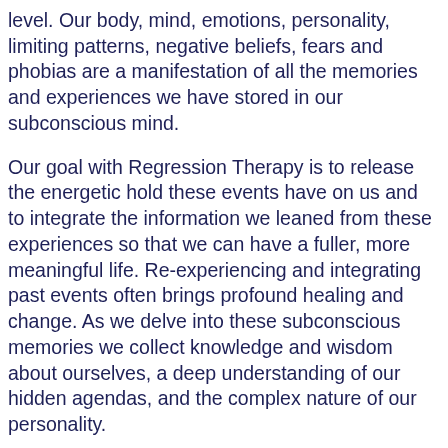level. Our body, mind, emotions, personality, limiting patterns, negative beliefs, fears and phobias are a manifestation of all the memories and experiences we have stored in our subconscious mind.
Our goal with Regression Therapy is to release the energetic hold these events have on us and to integrate the information we leaned from these experiences so that we can have a fuller, more meaningful life. Re-experiencing and integrating past events often brings profound healing and change. As we delve into these subconscious memories we collect knowledge and wisdom about ourselves, a deep understanding of our hidden agendas, and the complex nature of our personality.
Our objective is to help our system “complete the biological process”, the natural and instinctual process of our bodies to release the energy of flight, flight or freeze. We may carry this frozen state from trauma in childhood to trauma in past-lives. Our goal is to integrate ALL of who we are; our present life experiences and our personality in context with the full progression of our soul.
To live a soul-centered life we must remember who we are. ALL of who we are. As we integrate our human nature and our